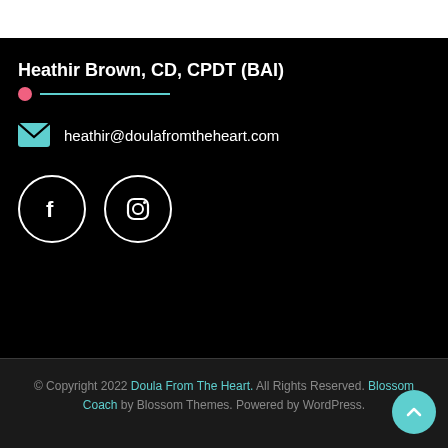Heathir Brown, CD, CPDT (BAI)
heathir@doulafromtheheart.com
[Figure (logo): Facebook and Instagram social media icon circles with white outlines on black background]
© Copyright 2022 Doula From The Heart. All Rights Reserved. Blossom Coach by Blossom Themes. Powered by WordPress.